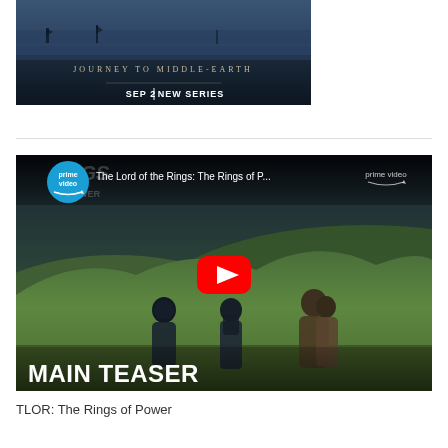[Figure (screenshot): Promotional image for Amazon Prime Video 'Journey to Middle-Earth' new series. Dark atmospheric scene with water and ships at top. Text reads 'JOURNEY TO MIDDLE-EARTH' and 'SEP 2 | NEW SERIES'.]
[Figure (screenshot): YouTube video thumbnail for 'The Lord of the Rings: The Rings of Power' Main Teaser on Prime Video. Shows hobbits/characters walking across green hills. Prime Video logo top-left and top-right. Large red YouTube play button in center. 'MAIN TEASER' text at bottom.]
TLOR: The Rings of Power